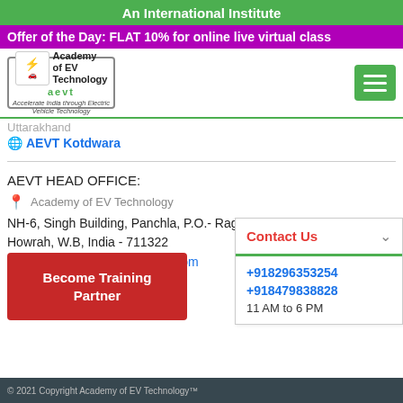An International Institute
Offer of the Day: FLAT 10% for online live virtual class
[Figure (logo): Academy of EV Technology logo with car and lightning bolt icon]
AEVT Kotdwara
AEVT HEAD OFFICE:
Academy of EV Technology
NH-6, Singh Building, Panchla, P.O.- Raghudevpur
Howrah, W.B, India - 711322
E-mail: gatetrust.mail@gmail.com
http://aevt.org
Contact Us
+918296353254
+918479838828
11 AM to 6 PM
Become Training Partner
© 2021 Copyright Academy of EV Technology™